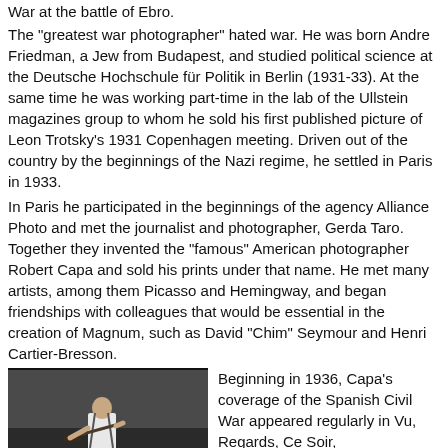War at the battle of Ebro.
The "greatest war photographer" hated war. He was born Andre Friedman, a Jew from Budapest, and studied political science at the Deutsche Hochschule für Politik in Berlin (1931-33). At the same time he was working part-time in the lab of the Ullstein magazines group to whom he sold his first published picture of Leon Trotsky's 1931 Copenhagen meeting. Driven out of the country by the beginnings of the Nazi regime, he settled in Paris in 1933.
In Paris he participated in the beginnings of the agency Alliance Photo and met the journalist and photographer, Gerda Taro. Together they invented the "famous" American photographer Robert Capa and sold his prints under that name. He met many artists, among them Picasso and Hemingway, and began friendships with colleagues that would be essential in the creation of Magnum, such as David "Chim" Seymour and Henri Cartier-Bresson.
[Figure (photo): Black and white photograph of a soldier in white shirt holding a rifle, photographed at the Spanish Civil War battle of Ebro.]
Beginning in 1936, Capa's coverage of the Spanish Civil War appeared regularly in Vu, Regards, Ce Soir,